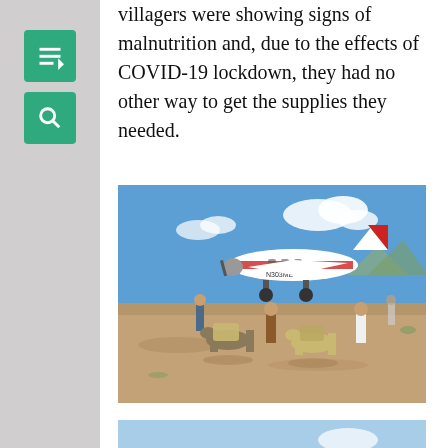villagers were showing signs of malnutrition and, due to the effects of COVID-19 lockdown, they had no other way to get the supplies they needed.
[Figure (photo): A small red and white propeller aircraft parked on a dirt airstrip. Several people lead donkeys loaded with cargo baskets away from the plane. Blue sky with scattered clouds in the background, arid landscape.]
[Figure (photo): Partial view of a second photo at the bottom of the page, showing blue sky and what appears to be a light-colored surface.]